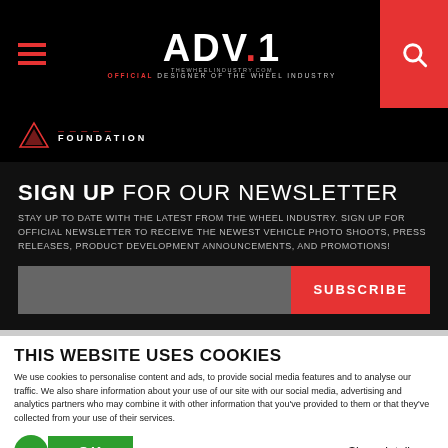ADV.1 THEWHEELINDUSTRY.COM OFFICIAL DESIGNER OF THE WHEEL INDUSTRY
[Figure (logo): Foundation logo with V emblem and text]
SIGN UP FOR OUR NEWSLETTER
STAY UP TO DATE WITH THE LATEST FROM THE WHEEL INDUSTRY. SIGN UP FOR OFFICIAL NEWSLETTER TO RECEIVE THE NEWEST VEHICLE PHOTO SHOOTS, PRESS RELEASES, PRODUCT DEVELOPMENT ANNOUNCEMENTS, AND PROMOTIONS!
THIS WEBSITE USES COOKIES
We use cookies to personalise content and ads, to provide social media features and to analyse our traffic. We also share information about your use of our site with our social media, advertising and analytics partners who may combine it with other information that you've provided to them or that they've collected from your use of their services.
OK  Show details